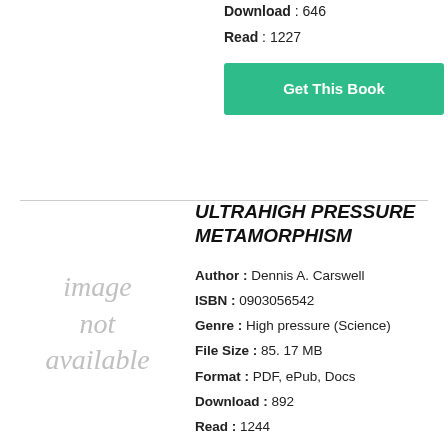Download : 646
Read : 1227
[Figure (other): Get This Book button (green)]
[Figure (other): image not available placeholder]
ULTRAHIGH PRESSURE METAMORPHISM
Author : Dennis A. Carswell
ISBN : 0903056542
Genre : High pressure (Science)
File Size : 85. 17 MB
Format : PDF, ePub, Docs
Download : 892
Read : 1244
[Figure (other): Get This Book button (green), partially visible]